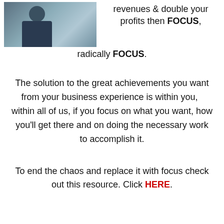[Figure (photo): Photo of a person (worker/technician) standing near industrial equipment outdoors]
revenues & double your profits then FOCUS, radically FOCUS.
The solution to the great achievements you want from your business experience is within you,   within all of us, if you focus on what you want, how you'll get there and on doing the necessary work to accomplish it.
To end the chaos and replace it with focus check out this resource. Click HERE.